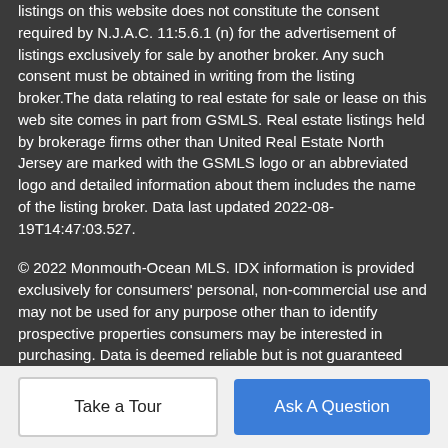listings on this website does not constitute the consent required by N.J.A.C. 11:5.6.1 (n) for the advertisement of listings exclusively for sale by another broker. Any such consent must be obtained in writing from the listing broker.The data relating to real estate for sale or lease on this web site comes in part from GSMLS. Real estate listings held by brokerage firms other than United Real Estate North Jersey are marked with the GSMLS logo or an abbreviated logo and detailed information about them includes the name of the listing broker. Data last updated 2022-08-19T14:47:03.527.
© 2022 Monmouth-Ocean MLS. IDX information is provided exclusively for consumers' personal, non-commercial use and may not be used for any purpose other than to identify prospective properties consumers may be interested in purchasing. Data is deemed reliable but is not guaranteed accurate by the MLS or United Real Estate North Jersey. Data last updated 2022-08-19T14:20:21.493.
Take a Tour | Ask A Question